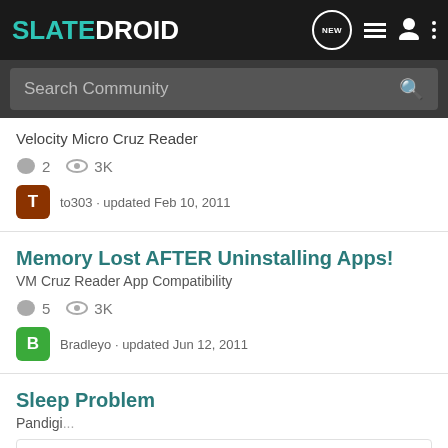SLATEDROID — navigation header with search bar
Velocity Micro Cruz Reader
2 comments · 3K views
to303 · updated Feb 10, 2011
Memory Lost AFTER Uninstalling Apps!
VM Cruz Reader App Compatibility
5 comments · 3K views
Bradleyo · updated Jun 12, 2011
Sleep Problem
Pandigi...
[Figure (screenshot): Ad banner for Codecademy — 'Join Codecademy' with 'Become an iOS Developer' graphic and 'Learn more' link]